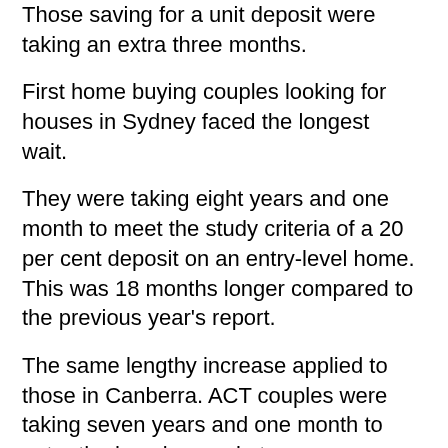Those saving for a unit deposit were taking an extra three months.
First home buying couples looking for houses in Sydney faced the longest wait.
They were taking eight years and one month to meet the study criteria of a 20 per cent deposit on an entry-level home. This was 18 months longer compared to the previous year's report.
The same lengthy increase applied to those in Canberra. ACT couples were taking seven years and one month to enter the housing market.
The wait was next longest in Melbourne, six years and six months. Hobart was five years and 10 months. Buying in Brisbane, Adelaide and Darwin took about four years, while Perth took about three years.
For regional towns combined, couples took three years and four months to fund a deposit. This was